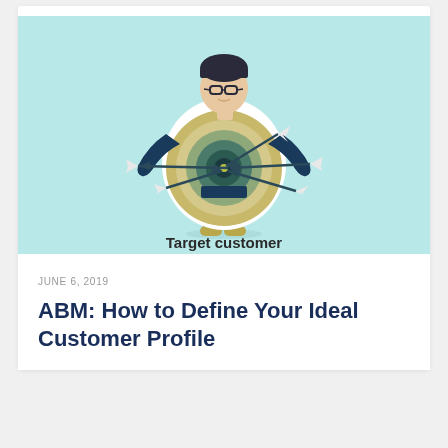[Figure (illustration): Illustration of a person with glasses holding a large bullseye/archery target on their chest with multiple arrows stuck in it. Below the illustration is the label 'Target customer'. The background is light blue/teal.]
JUNE 6, 2019
ABM: How to Define Your Ideal Customer Profile